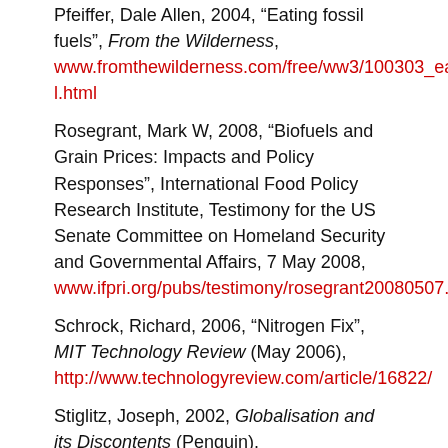Pfeiffer, Dale Allen, 2004, “Eating fossil fuels”, From the Wilderness, www.fromthewilderness.com/free/ww3/100303_eating_oil.html
Rosegrant, Mark W, 2008, “Biofuels and Grain Prices: Impacts and Policy Responses”, International Food Policy Research Institute, Testimony for the US Senate Committee on Homeland Security and Governmental Affairs, 7 May 2008, www.ifpri.org/pubs/testimony/rosegrant20080507.pdf
Schrock, Richard, 2006, “Nitrogen Fix”, MIT Technology Review (May 2006), http://www.technologyreview.com/article/16822/
Stiglitz, Joseph, 2002, Globalisation and its Discontents (Penguin).